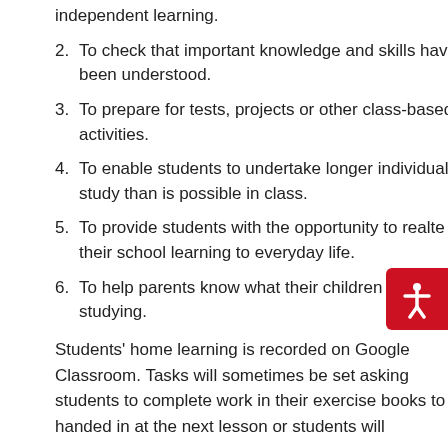independent learning.
2. To check that important knowledge and skills have been understood.
3. To prepare for tests, projects or other class-based activities.
4. To enable students to undertake longer individual study than is possible in class.
5. To provide students with the opportunity to realte their school learning to everyday life.
6. To help parents know what their children are studying.
Students' home learning is recorded on Google Classroom. Tasks will sometimes be set asking students to complete work in their exercise books to be handed in at the next lesson or students will